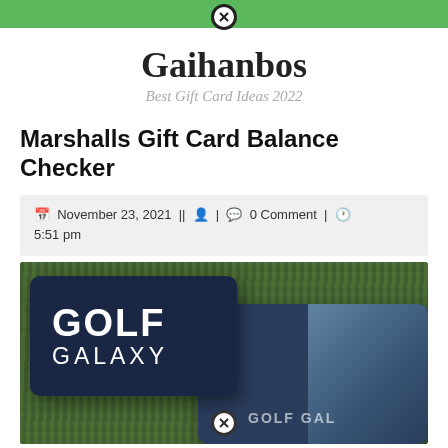Gaihanbos — Best Gift Card Ideas 2022 (navigation bar)
Gaihanbos
Best Gift Card Ideas 2022
Marshalls Gift Card Balance Checker
November 23, 2021 | | 🔒 | 💬 0 Comment | 🕐 5:51 pm
[Figure (photo): Golf Galaxy gift card on artificial grass background, showing the Golf Galaxy logo in white text on a dark navy card. A second Golf Galaxy card partially visible in the lower right, with golf apparel visible behind it.]